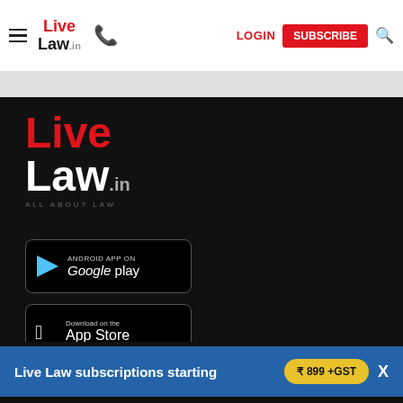Live Law.in | LOGIN | SUBSCRIBE
[Figure (logo): Live Law.in logo with red 'Live' and white 'Law.in' text on black background]
[Figure (illustration): Google Play store badge - Android App on Google play]
[Figure (illustration): Apple App Store badge - Download on the App Store]
Top Stories
Know the Law
Live Law subscriptions starting ₹ 899 +GST
Columns
Job Updates
Interviews
Book Reviews